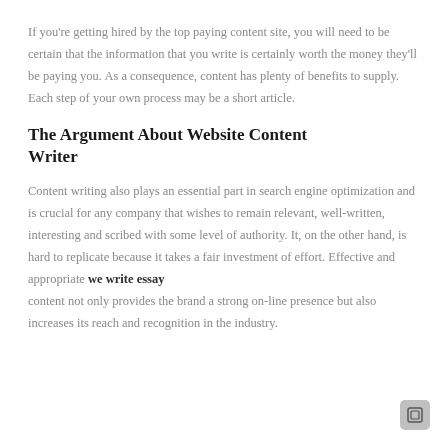If you're getting hired by the top paying content site, you will need to be certain that the information that you write is certainly worth the money they'll be paying you. As a consequence, content has plenty of benefits to supply. Each step of your own process may be a short article.
The Argument About Website Content Writer
Content writing also plays an essential part in search engine optimization and is crucial for any company that wishes to remain relevant, well-written, interesting and scribed with some level of authority. It, on the other hand, is hard to replicate because it takes a fair investment of effort. Effective and appropriate we write essay content not only provides the brand a strong on-line presence but also increases its reach and recognition in the industry.